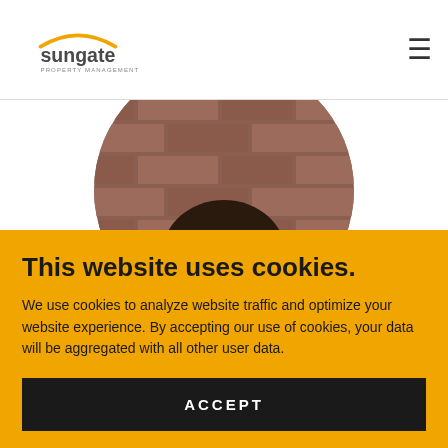sungate PROPERTY MANAGEMENT
[Figure (photo): Circular cropped photo of a person peeking over a brick wall, with dark hair visible above the wall.]
This website uses cookies.
We use cookies to analyze website traffic and optimize your website experience. By accepting our use of cookies, your data will be aggregated with all other user data.
ACCEPT